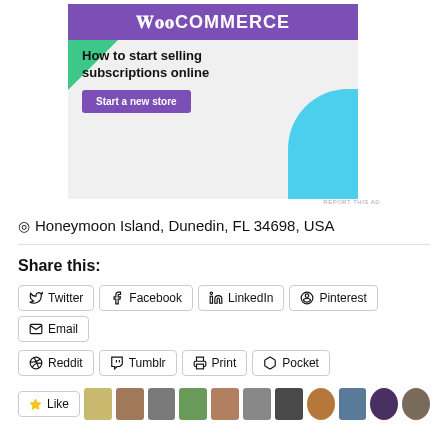[Figure (illustration): WooCommerce advertisement banner: purple top bar with WooCommerce logo text, light gray background, green triangle shape top-left, blue rounded shape bottom-right, headline 'How to start selling subscriptions online', purple 'Start a new store' button]
REPORT THIS AD
📍 Honeymoon Island, Dunedin, FL 34698, USA
Share this:
Twitter
Facebook
LinkedIn
Pinterest
Email
Reddit
Tumblr
Print
Pocket
[Figure (other): Like button with star icon, followed by a row of user avatar images]